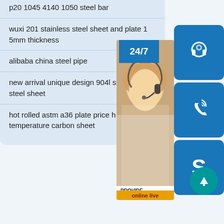p20 1045 4140 1050 steel bar
wuxi 201 stainless steel sheet and plate 1 5mm thickness
alibaba china steel pipe
new arrival unique design 904l stainless steel sheet
hot rolled astm a36 plate price high temperature carbon sheet
[Figure (screenshot): Customer service sidebar overlay with 24/7 label, agent photo, headset icon, phone icon, Skype icon, PROVIDE Empowering Customers text, and online live button]